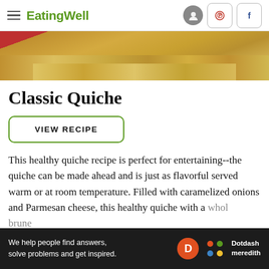EatingWell
[Figure (photo): Close-up photo of a classic quiche with golden pastry crust, partially cropped]
Classic Quiche
VIEW RECIPE
This healthy quiche recipe is perfect for entertaining--the quiche can be made ahead and is just as flavorful served warm or at room temperature. Filled with caramelized onions and Parmesan cheese, this healthy quiche with a whole...brune...
[Figure (other): Dotdash Meredith advertisement banner: 'We help people find answers, solve problems and get inspired.' with Dotdash Meredith logo]